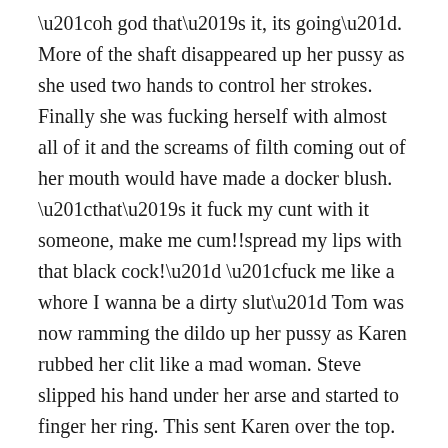“oh god that’s it, its going”. More of the shaft disappeared up her pussy as she used two hands to control her strokes. Finally she was fucking herself with almost all of it and the screams of filth coming out of her mouth would have made a docker blush. “that’s it fuck my cunt with it someone, make me cum!!spread my lips with that black cock!” “fuck me like a whore I wanna be a dirty slut” Tom was now ramming the dildo up her pussy as Karen rubbed her clit like a mad woman. Steve slipped his hand under her arse and started to finger her ring. This sent Karen over the top. Anal was always a no no with her no matter how hard I tried. Now it had the effect of her biggest orgasm id seen for a long time. “stop it stop it stop it not my arse!” But it was